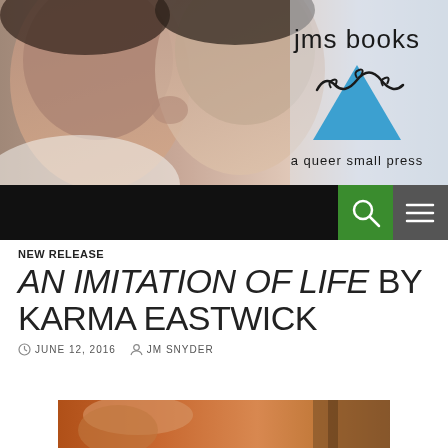[Figure (photo): Two young men facing each other closely about to kiss, intimate portrait photo used as website header banner]
[Figure (logo): JMS Books logo: text 'jms books' with a blue downward-pointing triangle and decorative script/curl design, tagline 'a queer small press']
[Figure (screenshot): Black navigation bar with green search icon button and grey hamburger menu button on the right]
NEW RELEASE
AN IMITATION OF LIFE BY KARMA EASTWICK
JUNE 12, 2016   JM SNYDER
[Figure (photo): Partial book cover image showing a person's face and torso with warm orange/brown tones]